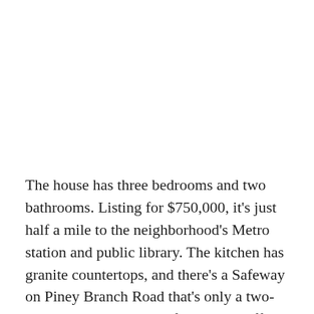The house has three bedrooms and two bathrooms. Listing for $750,000, it's just half a mile to the neighborhood's Metro station and public library. The kitchen has granite countertops, and there's a Safeway on Piney Branch Road that's only a two-minute walk away. The front porch offers a great place for sitting and enjoying warm evenings. The basement is finished.